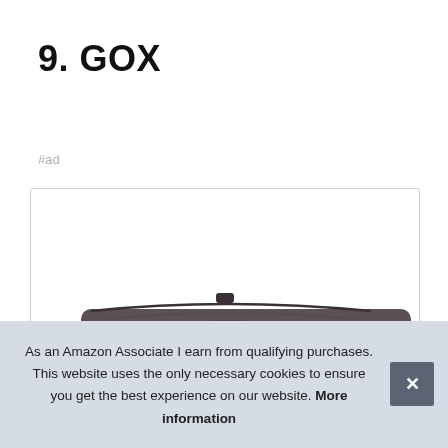9. GOX
#ad
[Figure (photo): Product photo of a dark grey/charcoal travel bag or pencil case shown partially inside a bordered card]
As an Amazon Associate I earn from qualifying purchases. This website uses the only necessary cookies to ensure you get the best experience on our website. More information